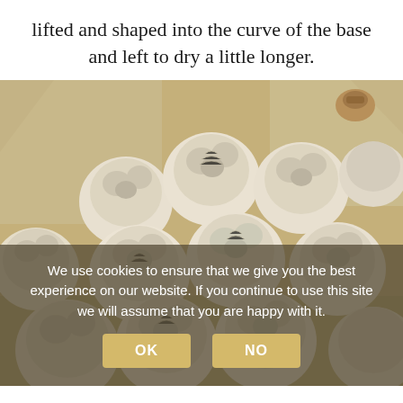lifted and shaped into the curve of the base and left to dry a little longer.
[Figure (photo): Multiple white clay sculpted dog face tiles/medallions arranged together in a kiln or box, showing detailed fur texture. A cookie consent overlay appears at the bottom with OK and NO buttons.]